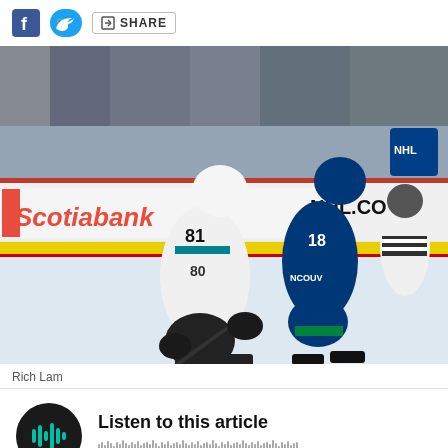[Figure (other): Social share bar with Facebook, Twitter icons and SHARE button]
[Figure (photo): NHL hockey photo: San Jose Sharks player #81 skating with puck, pursued by Vancouver Canucks player #18, in front of boards showing Scotiabank and NHL.com advertisements. Photo by Rich Lam.]
Rich Lam
Listen to this article